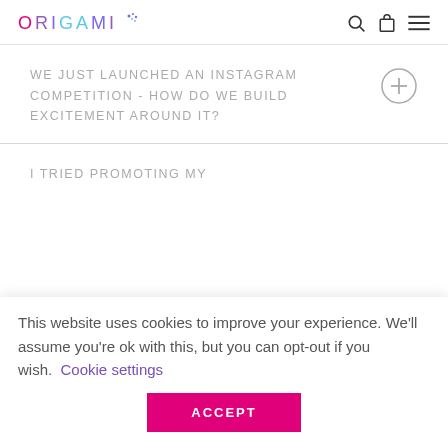ORIGAMI
WE JUST LAUNCHED AN INSTAGRAM COMPETITION - HOW DO WE BUILD EXCITEMENT AROUND IT?
I TRIED PROMOTING MY
This website uses cookies to improve your experience. We'll assume you're ok with this, but you can opt-out if you wish. Cookie settings ACCEPT